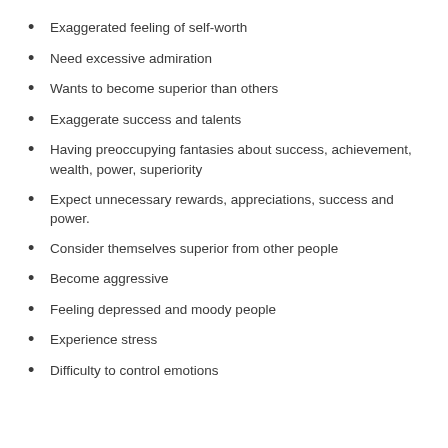Exaggerated feeling of self-worth
Need excessive admiration
Wants to become superior than others
Exaggerate success and talents
Having preoccupying fantasies about success, achievement, wealth, power, superiority
Expect unnecessary rewards, appreciations, success and power.
Consider themselves superior from other people
Become aggressive
Feeling depressed and moody people
Experience stress
Difficulty to control emotions